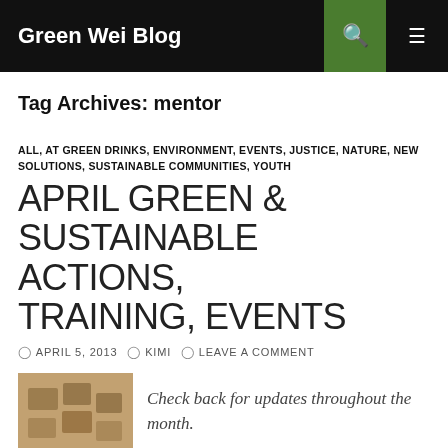Green Wei Blog
Tag Archives: mentor
ALL, AT GREEN DRINKS, ENVIRONMENT, EVENTS, JUSTICE, NATURE, NEW SOLUTIONS, SUSTAINABLE COMMUNITIES, YOUTH
APRIL GREEN & SUSTAINABLE ACTIONS, TRAINING, EVENTS
APRIL 5, 2013  KIMI  LEAVE A COMMENT
[Figure (photo): Thumbnail image with tan/brown tones, appears to show some objects]
Check back for updates throughout the month.